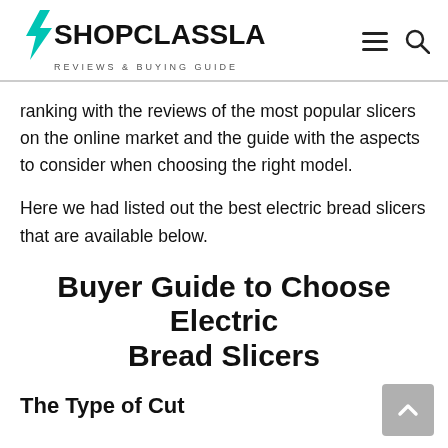SHOPCLASSLA — REVIEWS & BUYING GUIDE
ranking with the reviews of the most popular slicers on the online market and the guide with the aspects to consider when choosing the right model.
Here we had listed out the best electric bread slicers that are available below.
Buyer Guide to Choose Electric Bread Slicers
The Type of Cut